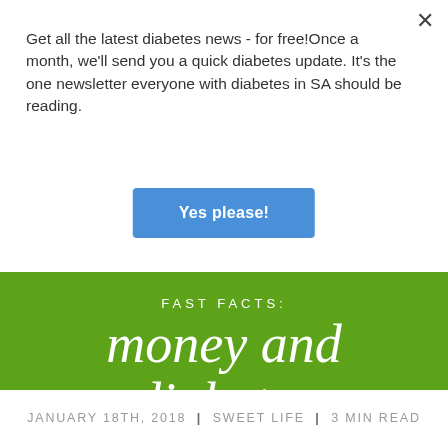Get all the latest diabetes news - for free!Once a month, we'll send you a quick diabetes update. It's the one newsletter everyone with diabetes in SA should be reading.
Yes please!
[Figure (infographic): Green banner with text 'FAST FACTS:' in spaced uppercase white letters and cursive script 'money and diabetes' in white italic script font]
JANUARY 18TH, 2018 | SWEET LIFE | 3 MIN READ